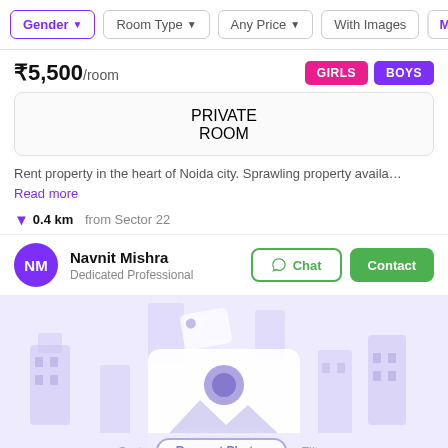Gender | Room Type | Any Price | With Images | M…
₹5,500/room
GIRLS  BOYS
PRIVATE ROOM
Rent property in the heart of Noida city. Sprawling property availa… Read more
0.4 km from Sector 22
Navnit Mishra
Dedicated Professional
[Figure (illustration): No photos placeholder illustration with building icons and a camera/image icon, showing 'NO PHOTOS' text]
Sort  Request Photos  Filter